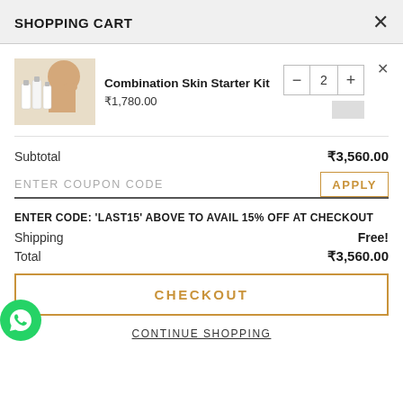SHOPPING CART
[Figure (photo): Product image of Combination Skin Starter Kit showing skincare bottles with a woman]
Combination Skin Starter Kit
₹1,780.00
Subtotal  ₹3,560.00
ENTER COUPON CODE  APPLY
ENTER CODE: 'LAST15' ABOVE TO AVAIL 15% OFF AT CHECKOUT
Shipping  Free!
Total  ₹3,560.00
CHECKOUT
CONTINUE SHOPPING
[Figure (logo): WhatsApp green chat button icon]